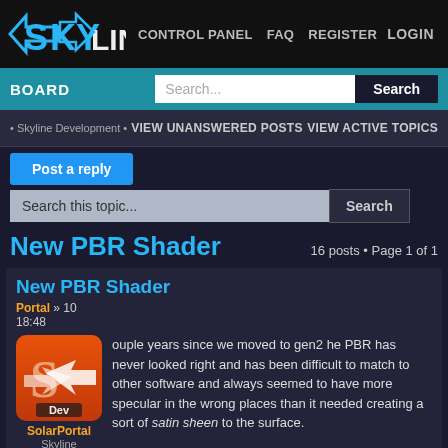[Figure (logo): Skyline logo with blue arrow design and text]
CONTROL PANEL  FAQ  REGISTER  LOGIN
BOARD INDEX  Search...  Search
Skyline Development • VIEW UNANSWERED POSTS  VIEW ACTIVE TOPICS
Post a reply
Search this topic...  Search
New PBR Shader
16 posts • Page 1 of 1
New PBR Shader
SolarPortal » 10  18:48
[Figure (logo): SolarPortal avatar - orange/red app icon with S and arrow design, Dev label]
SolarPortal
Skyline Founder
ouple years since we moved to gen2 he PBR has never looked right and has been difficult to match to other software and always seemed to have more specular in the wrong places than it needed creating a sort of satin sheen to the surface.